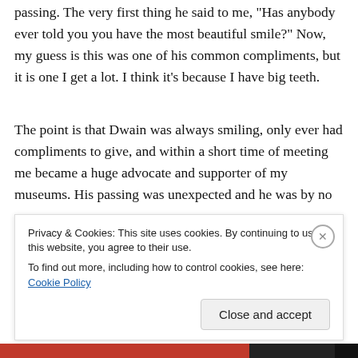passing. The very first thing he said to me, "Has anybody ever told you you have the most beautiful smile?" Now, my guess is this was one of his common compliments, but it is one I get a lot. I think it's because I have big teeth.
The point is that Dwain was always smiling, only ever had compliments to give, and within a short time of meeting me became a huge advocate and supporter of my museums. His passing was unexpected and he was by no
Privacy & Cookies: This site uses cookies. By continuing to use this website, you agree to their use.
To find out more, including how to control cookies, see here: Cookie Policy